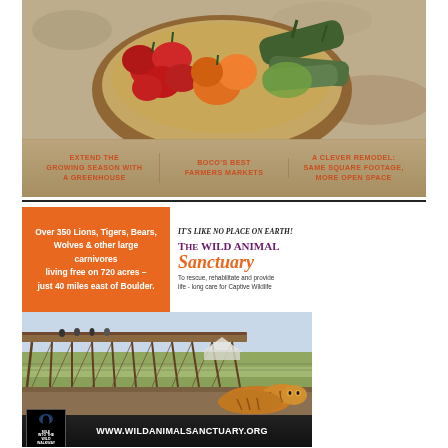[Figure (photo): Top advertisement showing a bowl of colorful peppers and vegetables (red, orange, green) on a stone background with orange text below listing three topics: greenhouse growing, BoCo farmers markets, and remodel feature.]
[Figure (photo): The Wild Animal Sanctuary advertisement. Top half has orange block on left with white text about lions, tigers, bears on 720 acres 40 miles east of Boulder, and white area on right with 'IT'S LIKE NO PLACE ON EARTH!' and The Wild Animal Sanctuary logo and tagline. Bottom half shows elevated walkway over sanctuary grounds with a tiger resting in foreground. Footer shows website www.wildanimalsanctuary.org and Mile Into The Wild Walkway logo.]